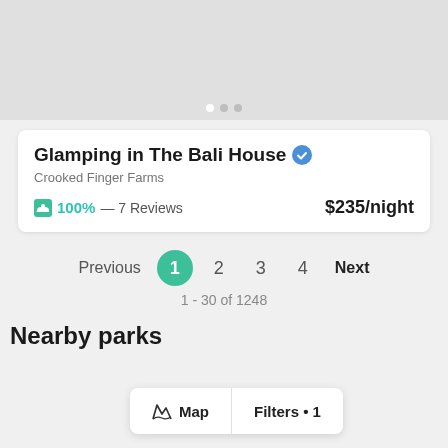[Figure (photo): Gray placeholder image area with three pagination dots at the bottom (one white active dot, two gray inactive dots)]
Glamping in The Bali House
Crooked Finger Farms
100% — 7 Reviews    $235/night
Previous  1  2  3  4  Next
1 - 30 of 1248
Nearby parks
Map   Filters • 1